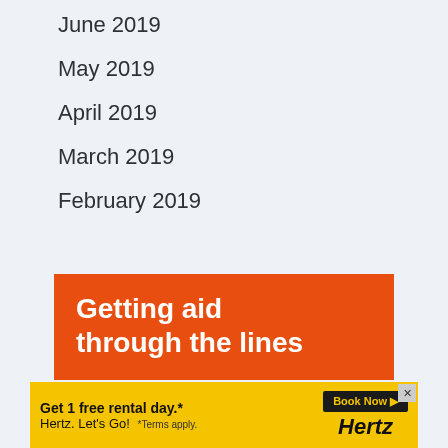June 2019
May 2019
April 2019
March 2019
February 2019
© 2022 - WordPress Theme by Kadence WP
[Figure (infographic): Orange advertisement banner showing 'Getting aid through the lines' text in white bold font on orange background]
[Figure (infographic): Hertz car rental advertisement: 'Get 1 free rental day.* Hertz. Let's Go!' with Book Now button on yellow background]